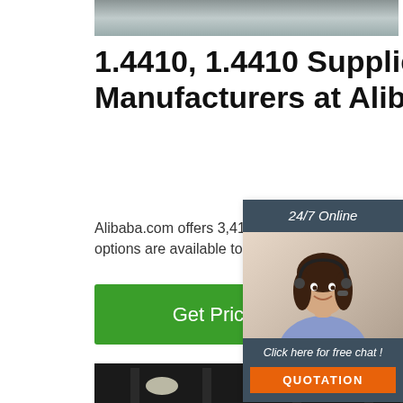[Figure (photo): Close-up photo of metallic/steel material surface at top]
1.4410, 1.4410 Suppliers and Manufacturers at Alibaba.com
Alibaba.com offers 3,411 1.4410 products. A wide variety of 1.4410 options are available to
[Figure (other): Green 'Get Price' button]
[Figure (photo): Chat widget with woman wearing headset, '24/7 Online' header, 'Click here for free chat!' and QUOTATION button]
[Figure (photo): Industrial photo of steel round bars/billets in a factory]